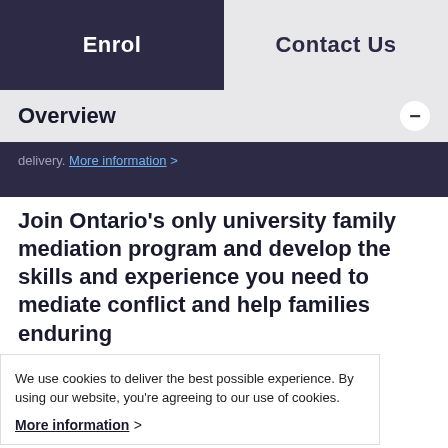Enrol | Contact Us
Overview
delivery. More information >
Join Ontario’s only university family mediation program and develop the skills and experience you need to mediate conflict and help families enduring
We use cookies to deliver the best possible experience. By using our website, you're agreeing to our use of cookies. More information >
Accept
In our part-time Certificate in Family Mediation, you